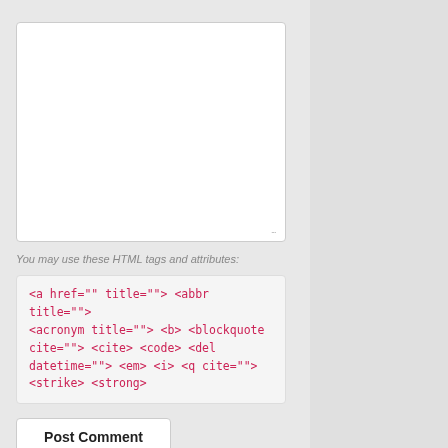[Figure (screenshot): Empty textarea input box with resize handle in bottom-right corner]
You may use these HTML tags and attributes:
<a href="" title=""> <abbr title=""> <acronym title=""> <b> <blockquote cite=""> <cite> <code> <del datetime=""> <em> <i> <q cite=""> <strike> <strong>
Post Comment